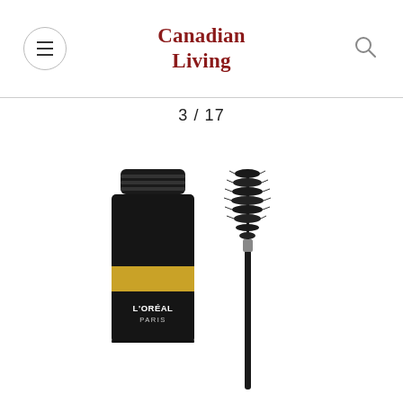Canadian Living
3 / 17
[Figure (photo): L'Oréal Paris brow mascara product: a black and gold tube with the lid removed, alongside the spoolie brush applicator. The tube is labeled L'ORÉAL PARIS.]